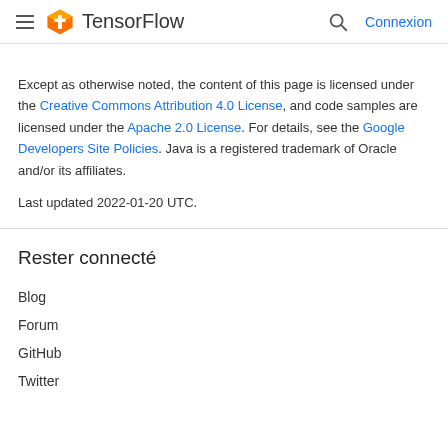TensorFlow — Connexion
Except as otherwise noted, the content of this page is licensed under the Creative Commons Attribution 4.0 License, and code samples are licensed under the Apache 2.0 License. For details, see the Google Developers Site Policies. Java is a registered trademark of Oracle and/or its affiliates.
Last updated 2022-01-20 UTC.
Rester connecté
Blog
Forum
GitHub
Twitter